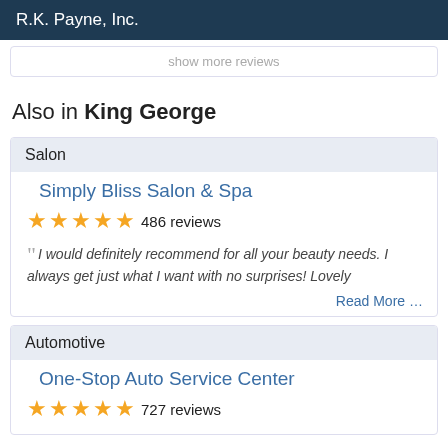R.K. Payne, Inc.
show more reviews
Also in King George
Salon
Simply Bliss Salon & Spa
486 reviews
I would definitely recommend for all your beauty needs. I always get just what I want with no surprises! Lovely
Read More …
Automotive
One-Stop Auto Service Center
727 reviews